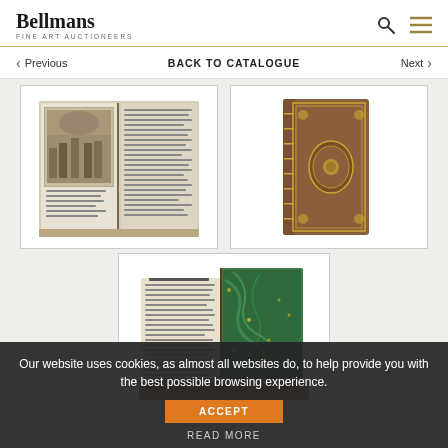Bellmans Fine Art Auctioneers
Previous   BACK TO CATALOGUE   Next
[Figure (photo): Open book with engraved illustration showing a crowd scene]
[Figure (photo): Antique leather-bound book spine with decorative gilded ornament]
[Figure (photo): Open antique book showing text page next to decorative marbled cover]
Our website uses cookies, as almost all websites do, to help provide you with the best possible browsing experience.
ACCEPT
READ MORE
[BUTLER, Samuel (1613-80)]. Hudibras, Cambridge, 1744, 3